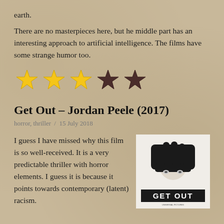earth.
There are no masterpieces here, but he middle part has an interesting approach to artificial intelligence. The films have some strange humor too.
[Figure (other): 3 gold stars and 2 dark/brown stars rating (3 out of 5 stars)]
Get Out – Jordan Peele (2017)
horror, thriller  /  15 July 2018
I guess I have missed why this film is so well-received. It is a very predictable thriller with horror elements. I guess it is because it points towards contemporary (latent) racism.
[Figure (photo): Movie poster for Get Out – black and white image of a hand covering a face, with GET OUT text at the bottom]